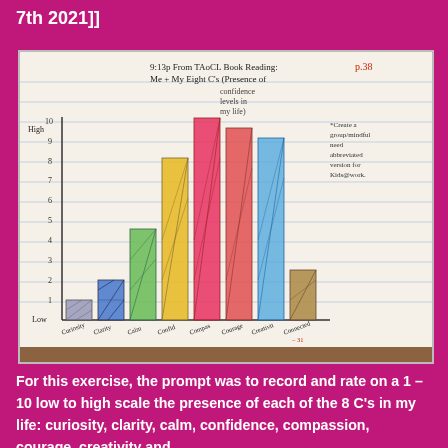7th 2021]]
[Figure (bar-chart): Hand-drawn bar chart in a notebook showing ratings for each of the 8 C's on a 1-10 scale. Notes visible: p.38, 9:13p, *Create a group/mindful need abbreviated version for Kids@work.]
For this exercise, the prompt was to record and rate on a 1 – 10 low to high scale the presence of each of the 8 C's in my life: curiosity, clarity, calm, confidence, compassion, courage, creativity and